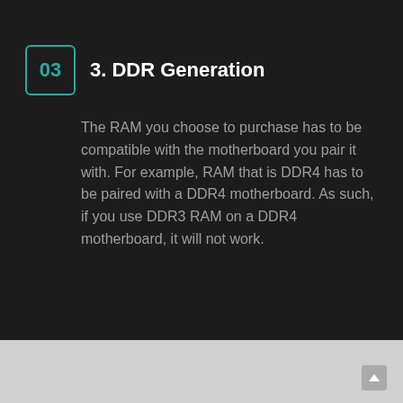3. DDR Generation
The RAM you choose to purchase has to be compatible with the motherboard you pair it with. For example, RAM that is DDR4 has to be paired with a DDR4 motherboard. As such, if you use DDR3 RAM on a DDR4 motherboard, it will not work.